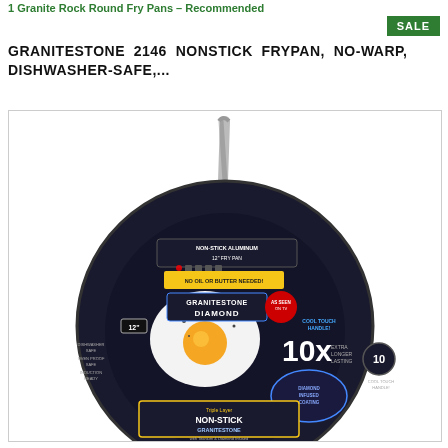1 Granite Rock Round Fry Pans – Recommended
SALE
GRANITESTONE 2146 NONSTICK FRYPAN, NO-WARP, DISHWASHER-SAFE,...
[Figure (photo): Product photo of a Granitestone Diamond 12-inch non-stick frypan with a stainless steel handle. The pan packaging shows: NON-STICK ALUMINUM 12" FRY PAN, NO OIL OR BUTTER NEEDED!, GRANITESTONE DIAMOND logo, As Seen on TV badge, 12" label, COOL TOUCH HANDLE!, 10X EXTRA LONGER LASTING, Diamond Infused Coating badge, Triple Layer NON-STICK GRANITESTONE with Titanium & Diamond Infused. A fried egg is shown in the pan.]